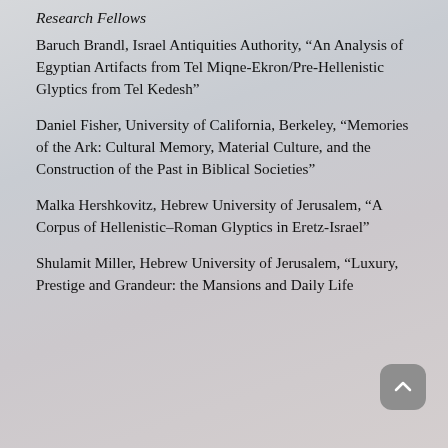Research Fellows
Baruch Brandl, Israel Antiquities Authority, “An Analysis of Egyptian Artifacts from Tel Miqne-Ekron/Pre-Hellenistic Glyptics from Tel Kedesh”
Daniel Fisher, University of California, Berkeley, “Memories of the Ark: Cultural Memory, Material Culture, and the Construction of the Past in Biblical Societies”
Malka Hershkovitz, Hebrew University of Jerusalem, “A Corpus of Hellenistic–Roman Glyptics in Eretz-Israel”
Shulamit Miller, Hebrew University of Jerusalem, “Luxury, Prestige and Grandeur: the Mansions and Daily Life